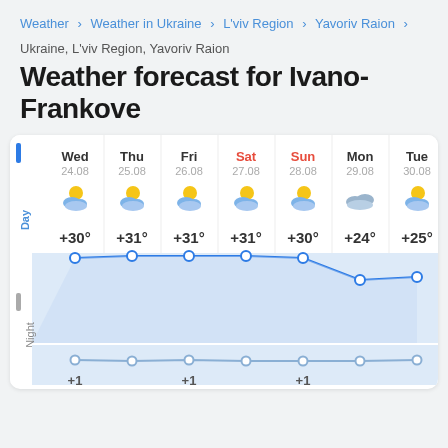Weather > Weather in Ukraine > L'viv Region > Yavoriv Raion >
Ukraine, L'viv Region, Yavoriv Raion
Weather forecast for Ivano-Frankove
[Figure (line-chart): 7-day weather forecast]